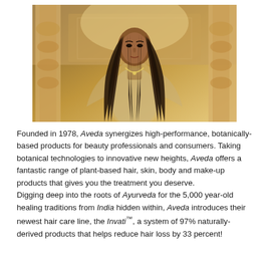[Figure (photo): A woman with long dark hair standing in an ornate Indian architectural setting with arched columns, wearing a light sheer outfit with jewelry.]
Founded in 1978, Aveda synergizes high-performance, botanically-based products for beauty professionals and consumers. Taking botanical technologies to innovative new heights, Aveda offers a fantastic range of plant-based hair, skin, body and make-up products that gives you the treatment you deserve.
Digging deep into the roots of Ayurveda for the 5,000 year-old healing traditions from India hidden within, Aveda introduces their newest hair care line, the Invati™, a system of 97% naturally-derived products that helps reduce hair loss by 33 percent!